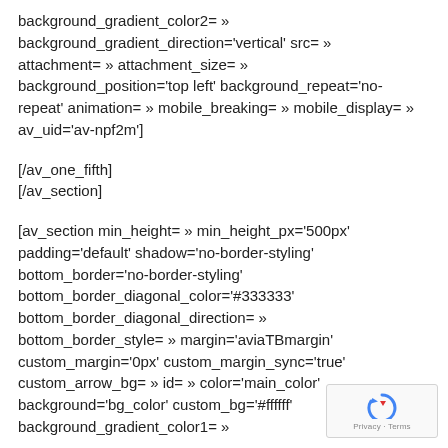background_gradient_color2= » background_gradient_direction='vertical' src= » attachment= » attachment_size= » background_position='top left' background_repeat='no-repeat' animation= » mobile_breaking= » mobile_display= » av_uid='av-npf2m']
[/av_one_fifth]
[/av_section]
[av_section min_height= » min_height_px='500px' padding='default' shadow='no-border-styling' bottom_border='no-border-styling' bottom_border_diagonal_color='#333333' bottom_border_diagonal_direction= » bottom_border_style= » margin='aviaTBmargin' custom_margin='0px' custom_margin_sync='true' custom_arrow_bg= » id= » color='main_color' background='bg_color' custom_bg='#ffffff' background_gradient_color1= »
[Figure (other): Google reCAPTCHA badge with circular arrow icon and 'Privacy - Terms' text]